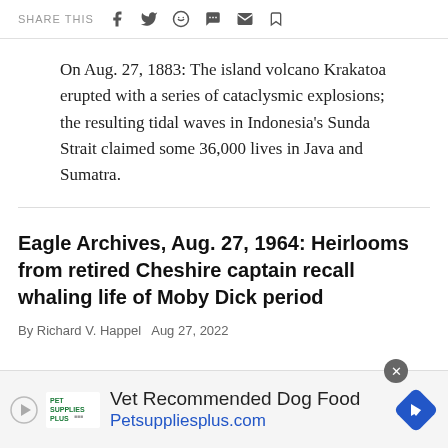SHARE THIS
On Aug. 27, 1883: The island volcano Krakatoa erupted with a series of cataclysmic explosions; the resulting tidal waves in Indonesia's Sunda Strait claimed some 36,000 lives in Java and Sumatra.
Eagle Archives, Aug. 27, 1964: Heirlooms from retired Cheshire captain recall whaling life of Moby Dick period
By Richard V. Happel  Aug 27, 2022
[Figure (other): Advertisement banner: Vet Recommended Dog Food, Petsuppliesplus.com, with Pet Supplies Plus logo and blue diamond arrow icon]